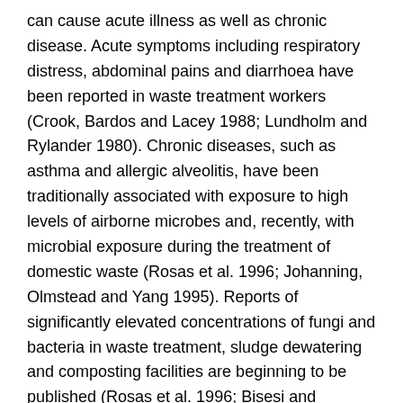can cause acute illness as well as chronic disease. Acute symptoms including respiratory distress, abdominal pains and diarrhoea have been reported in waste treatment workers (Crook, Bardos and Lacey 1988; Lundholm and Rylander 1980). Chronic diseases, such as asthma and allergic alveolitis, have been traditionally associated with exposure to high levels of airborne microbes and, recently, with microbial exposure during the treatment of domestic waste (Rosas et al. 1996; Johanning, Olmstead and Yang 1995). Reports of significantly elevated concentrations of fungi and bacteria in waste treatment, sludge dewatering and composting facilities are beginning to be published (Rosas et al. 1996; Bisesi and Kudlinski 1996; Johanning Olmstead and Yang 1995). Another source of airborne microbes is the aeration tanks which are used in many sewage treatment plants.
In addition to inhalation, microbes can be transmitted through ingestion and through contact with skin that is not intact. Personal hygiene, including washing hands before eating,